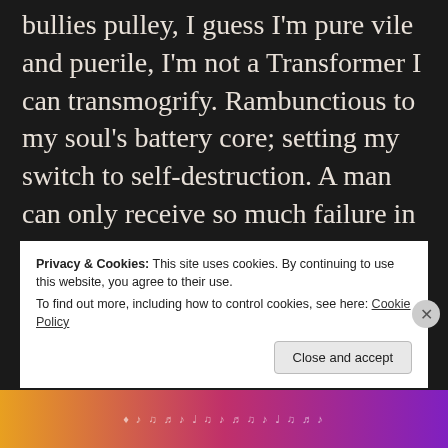bullies pulley, I guess I'm pure vile and puerile, I'm not a Transformer I can transmogrify. Rambunctious to my soul's battery core; setting my switch to self-destruction. A man can only receive so much failure in his life before superiority takes over his eyes focus. Insanity is a gift from the Gods; I wield and shield it against sanity.

This world sees what they want to see; I
Privacy & Cookies: This site uses cookies. By continuing to use this website, you agree to their use.
To find out more, including how to control cookies, see here: Cookie Policy
Close and accept